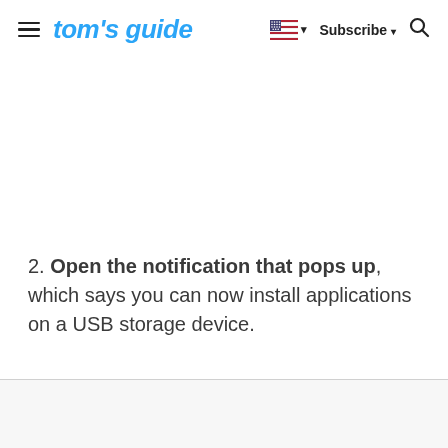tom's guide — Subscribe
2. Open the notification that pops up, which says you can now install applications on a USB storage device.